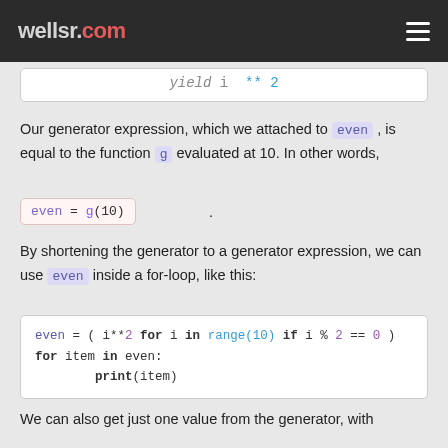wellsr.com
yield i ** 2
Our generator expression, which we attached to even , is equal to the function g evaluated at 10. In other words,
even = g(10) .
By shortening the generator to a generator expression, we can use even inside a for-loop, like this:
even = ( i**2 for i in range(10) if i % 2 == 0 )
for item in even:
        print(item)
We can also get just one value from the generator, with commands like next(even) or even.send() and finally